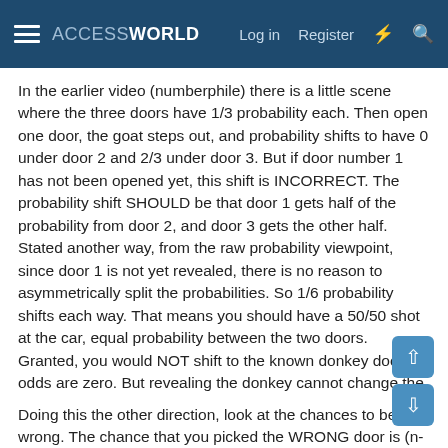ACCESSWORLD   Log in   Register
In the earlier video (numberphile) there is a little scene where the three doors have 1/3 probability each. Then open one door, the goat steps out, and probability shifts to have 0 under door 2 and 2/3 under door 3. But if door number 1 has not been opened yet, this shift is INCORRECT. The probability shift SHOULD be that door 1 gets half of the probability from door 2, and door 3 gets the other half. Stated another way, from the raw probability viewpoint, since door 1 is not yet revealed, there is no reason to asymmetrically split the probabilities. So 1/6 probability shifts each way. That means you should have a 50/50 shot at the car, equal probability between the two doors. Granted, you would NOT shift to the known donkey door. Its odds are zero. But revealing the donkey cannot change the odds of only one door. It must affect all remaining closed doors.
Doing this the other direction, look at the chances to be wrong. The chance that you picked the WRONG door is (n-1)/n so for 3 doors, 2/3 chance each. Note that probabilities considered this